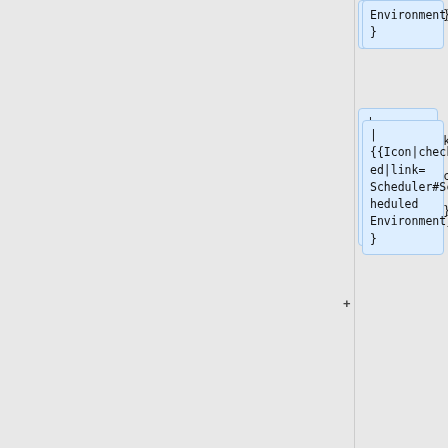Environment}
}
|
{{Icon|checked|link=
Scheduler#Scheduled Environment}
}
|-
!
[[remoteExecCall]]
|
{{Icon|unchecked|link=
Scheduler#Unscheduled Environment}